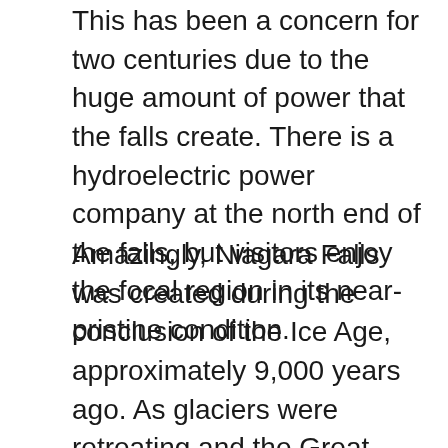This has been a concern for two centuries due to the huge amount of power that the falls create. There is a hydroelectric power company at the north end of the falls, but visitors enjoy the focal region in its near-pristine condition.
Amazingly, Niagara Falls was created during the conclusion of the Ice Age, approximately 9,000 years ago. As glaciers were retreating and the Great Lakes were formed, water was coursing its way towards the Atlantic Ocean. This created the Niagara River, which fills Lake Ontario with water coming out of Lake Erie.
Located between Buffalo, New York, and Toronto, Canada, the falls lie along the